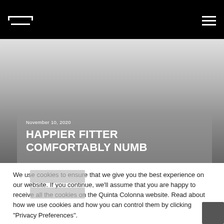HAPPIER FITTER COMFORTABLY NUMB
November 10, 2020
We use cookies to ensure that we give you the best experience on our website. If you continue, we'll assume that you are happy to receive all the cookies on the Quinta Colonna website. Read about how we use cookies and how you can control them by clicking "Privacy Preferences".